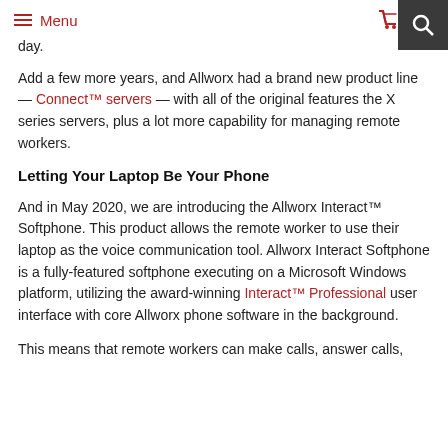Menu | Cart
day.
Add a few more years, and Allworx had a brand new product line — Connect™ servers — with all of the original features the X series servers, plus a lot more capability for managing remote workers.
Letting Your Laptop Be Your Phone
And in May 2020, we are introducing the Allworx Interact™ Softphone. This product allows the remote worker to use their laptop as the voice communication tool. Allworx Interact Softphone is a fully-featured softphone executing on a Microsoft Windows platform, utilizing the award-winning Interact™ Professional user interface with core Allworx phone software in the background.
This means that remote workers can make calls, answer calls,